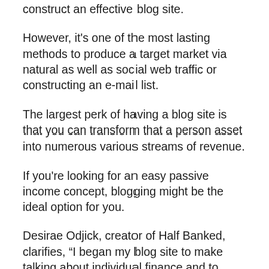construct an effective blog site.
However, it’s one of the most lasting methods to produce a target market via natural as well as social web traffic or constructing an e-mail list.
The largest perk of having a blog site is that you can transform that a person asset into numerous various streams of revenue.
If you’re looking for an easy passive income concept, blogging might be the ideal option for you.
Desirae Odjick, creator of Half Banked, clarifies, “I began my blog site to make talking about individual finance and to